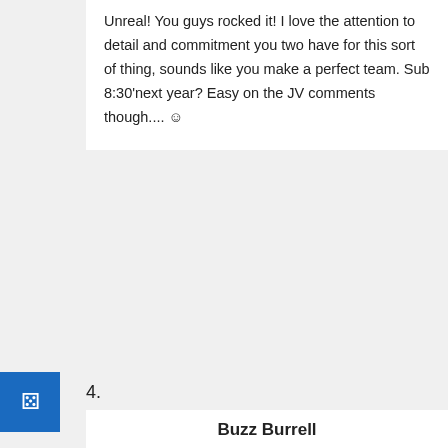Unreal! You guys rocked it! I love the attention to detail and commitment you two have for this sort of thing, sounds like you make a perfect team. Sub 8:30'next year? Easy on the JV comments though.... ☺
4.
Buzz Burrell
August 19, 2016 at 3:11 pm
Great route, great accomplishment, and great description as always! You made us